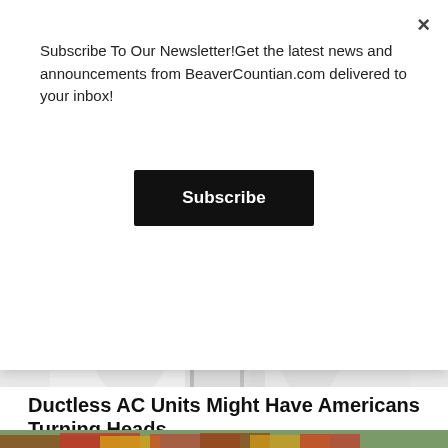Subscribe To Our Newsletter!Get the latest news and announcements from BeaverCountian.com delivered to your inbox!
Subscribe
[Figure (photo): Close-up of white curtains or blinds near a window, soft light — partial view behind modal overlay]
Ductless AC Units Might Have Americans Turning Heads
Ductless AC | Sponsored
[Figure (photo): Colorful mosaic or tiled rooftops with trees in background — partially visible at bottom of page]